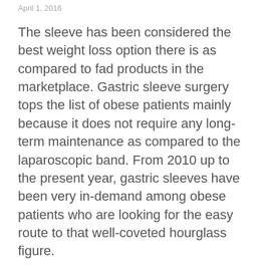April 1, 2016
The sleeve has been considered the best weight loss option there is as compared to fad products in the marketplace. Gastric sleeve surgery tops the list of obese patients mainly because it does not require any long-term maintenance as compared to the laparoscopic band. From 2010 up to the present year, gastric sleeves have been very in-demand among obese patients who are looking for the easy route to that well-coveted hourglass figure.
Going under the knife is, more often than not, regarded as the last resort when it comes to weight loss options. Many people are confident though with gastric sleeve surgery because this is known to be at least 99% effective, but it's not done yet for fatal side...